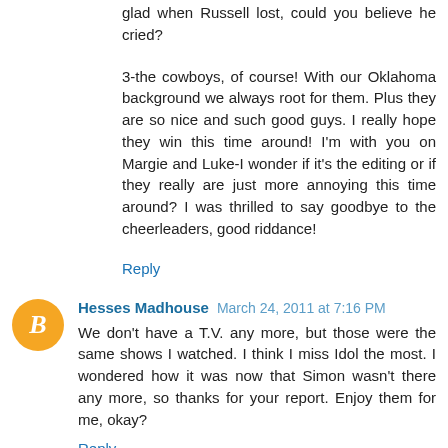glad when Russell lost, could you believe he cried?
3-the cowboys, of course! With our Oklahoma background we always root for them. Plus they are so nice and such good guys. I really hope they win this time around! I'm with you on Margie and Luke-I wonder if it's the editing or if they really are just more annoying this time around? I was thrilled to say goodbye to the cheerleaders, good riddance!
Reply
Hesses Madhouse  March 24, 2011 at 7:16 PM
We don't have a T.V. any more, but those were the same shows I watched. I think I miss Idol the most. I wondered how it was now that Simon wasn't there any more, so thanks for your report. Enjoy them for me, okay?
Reply
Anonymous  March 26, 2011 at 8:41 AM
What is Boston Rob doing on another reality show AGAIN?